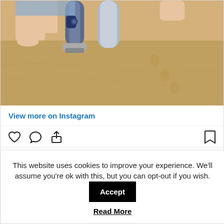[Figure (photo): Person lying on a sandy beach with a prosthetic leg visible. Sandy beach with footprints in background.]
View more on Instagram
[Figure (other): Instagram action icons: heart (like), comment bubble, share arrow, and bookmark icon. Shows 38,241 likes.]
38,241 likes
Add a comment...
This website uses cookies to improve your experience. We'll assume you're ok with this, but you can opt-out if you wish.
Accept
Read More